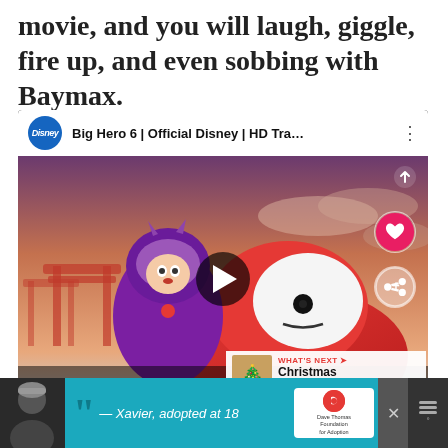movie, and you will laugh, giggle, fire up, and even sobbing with Baymax.
[Figure (screenshot): YouTube video embed showing Big Hero 6 Official Disney HD Trailer, with thumbnail of Hiro and Baymax characters, play button overlay, like and share buttons, and 'What's Next: Christmas Stocking...' recommendation]
[Figure (screenshot): Advertisement banner for Dave Thomas Foundation for Adoption featuring a person in a beanie hat and quote '— Xavier, adopted at 18']